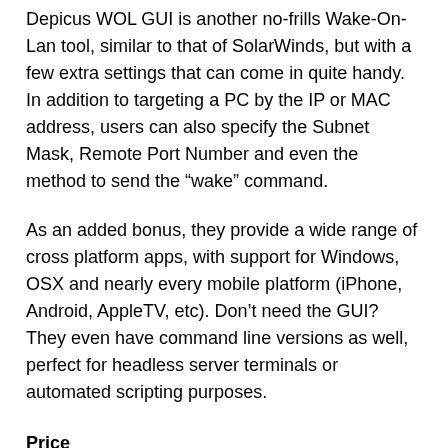Depicus WOL GUI is another no-frills Wake-On-Lan tool, similar to that of SolarWinds, but with a few extra settings that can come in quite handy. In addition to targeting a PC by the IP or MAC address, users can also specify the Subnet Mask, Remote Port Number and even the method to send the “wake” command.
As an added bonus, they provide a wide range of cross platform apps, with support for Windows, OSX and nearly every mobile platform (iPhone, Android, AppleTV, etc). Don’t need the GUI? They even have command line versions as well, perfect for headless server terminals or automated scripting purposes.
Price
Free